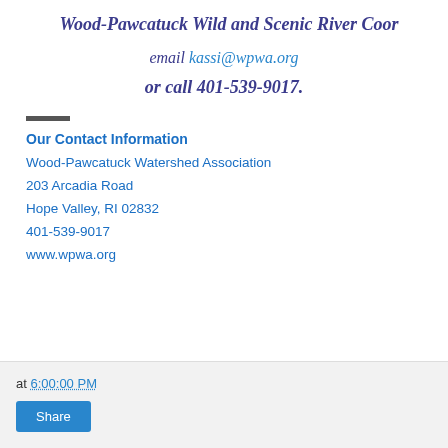Wood-Pawcatuck Wild and Scenic River Coor
email kassi@wpwa.org
or call 401-539-9017.
Our Contact Information
Wood-Pawcatuck Watershed Association
203 Arcadia Road
Hope Valley, RI 02832
401-539-9017
www.wpwa.org
at 6:00:00 PM
Share